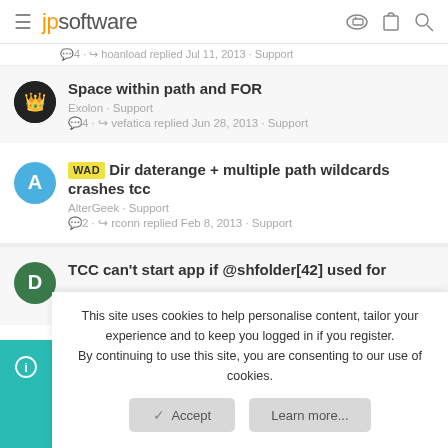jpsoftware
4 · hoanload replied Jul 11, 2013 · Support
Space within path and FOR
Exolon · Support
4 · vefatica replied Jun 28, 2013 · Support
WAD Dir daterange + multiple path wildcards crashes tcc
AlterGeek · Support
2 · rconn replied Feb 8, 2013 · Support
TCC can't start app if @shfolder[42] used for
This site uses cookies to help personalise content, tailor your experience and to keep you logged in if you register. By continuing to use this site, you are consenting to our use of cookies.